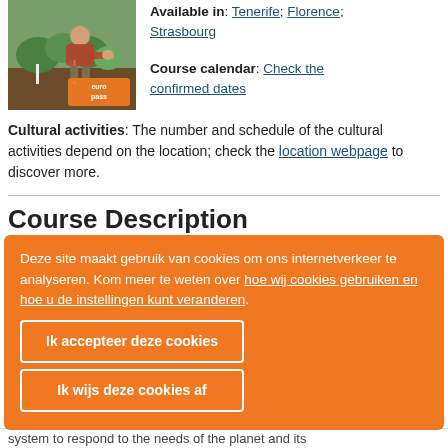[Figure (photo): Photo of a person gardening/planting in a garden with an Europass logo overlay]
Available in: Tenerife; Florence; Strasbourg
Course calendar: Check the confirmed dates
Cultural activities: The number and schedule of the cultural activities depend on the location; check the location webpage to discover more.
Course Description
Deze site maakt gebruik van cookies om ons internetverkeer te analyseren. Kom meer te weten over hoe wij cookies gebruiken en hoe u de instellingen kunt veranderen.
Ik accepteer deze cookies
Ik wijs deze cookies af
system to respond to the needs of the planet and its